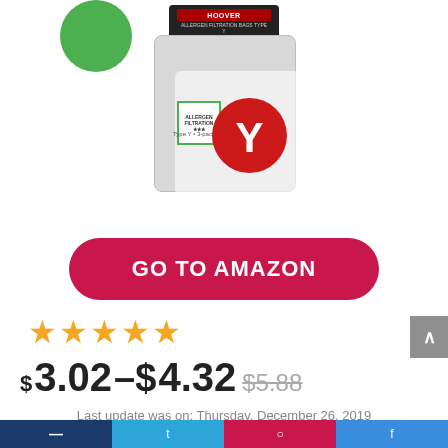[Figure (photo): Hoover Type Y vacuum cleaner bags product package with allergen filtration badge, shown with a green circle partially visible in upper left corner]
GO TO AMAZON
[Figure (other): Five orange star rating]
$3.02–$4.32 $5.88
Last update was on: Thursday, December 26, 2019